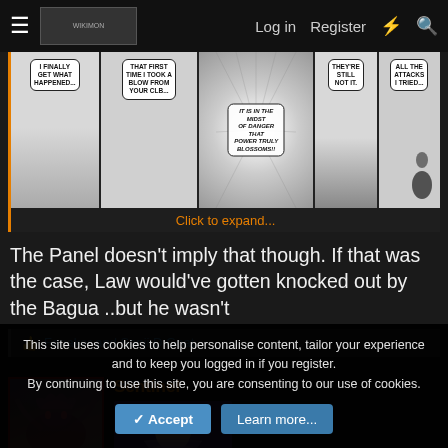Log in  Register
[Figure (illustration): Manga/comic panels showing characters with speech bubbles: 'I FINALLY GET WHAT HAPPENED...', 'THAT FIRST TIME I TOOK A BLOW FROM YOUR CLB...', 'IT IS IN THE MIDST OF DANGER THAT POWER TRULY BLOSSOMS!!', 'THEY'RE STILL NOT IT.', 'ALL THE ATTACKS I TRIED...']
Click to expand...
The Panel doesn't imply that though. If that was the case, Law would've gotten knocked out by the Bagua ..but he wasn't
Fenaker and Sanji D Goat
Sentinel
[Figure (illustration): User avatar with red border showing dark fantasy creature, and a thumbnail image of an anime character (Doflamingo-like figure)]
This site uses cookies to help personalise content, tailor your experience and to keep you logged in if you register.
By continuing to use this site, you are consenting to our use of cookies.
Accept  Learn more...